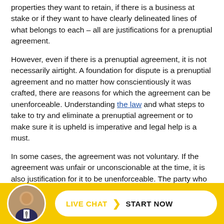properties they want to retain, if there is a business at stake or if they want to have clearly delineated lines of what belongs to each – all are justifications for a prenuptial agreement.
However, even if there is a prenuptial agreement, it is not necessarily airtight. A foundation for dispute is a prenuptial agreement and no matter how conscientiously it was crafted, there are reasons for which the agreement can be unenforceable. Understanding the law and what steps to take to try and eliminate a prenuptial agreement or to make sure it is upheld is imperative and legal help is a must.
In some cases, the agreement was not voluntary. If the agreement was unfair or unconscionable at the time, it is also justification for it to be unenforceable. The party who signed the agreement must have been given a full disclosure and financial obligations of the other party, that person must not have waived that disclosure and the party could not and did not have full knowledge is in...
[Figure (other): Live chat widget at bottom of page with a circular avatar photo of a man in a suit, and a white rounded button with yellow 'LIVE CHAT' text, a chevron, and 'START NOW' in black text, on a yellow background bar.]